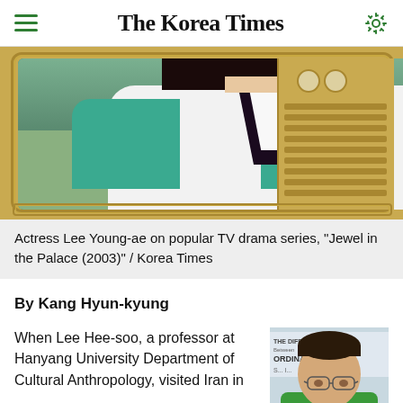The Korea Times
[Figure (photo): Actress Lee Young-ae in hanbok costume from TV drama, displayed within an illustrated golden TV frame]
Actress Lee Young-ae on popular TV drama series, "Jewel in the Palace (2003)" / Korea Times
By Kang Hyun-kyung
When Lee Hee-soo, a professor at Hanyang University Department of Cultural Anthropology, visited Iran in
[Figure (photo): Photo of a man wearing glasses and a green sweater, with a sign/text behind him reading 'THE DIFFERENCE BETWEEN ORDINARY...']